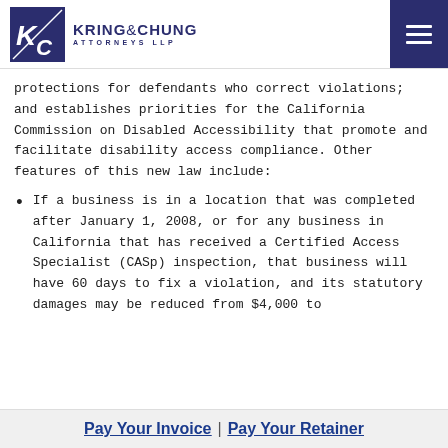Kring & Chung Attorneys LLP
protections for defendants who correct violations; and establishes priorities for the California Commission on Disabled Accessibility that promote and facilitate disability access compliance. Other features of this new law include:
If a business is in a location that was completed after January 1, 2008, or for any business in California that has received a Certified Access Specialist (CASp) inspection, that business will have 60 days to fix a violation, and its statutory damages may be reduced from $4,000 to
Pay Your Invoice | Pay Your Retainer